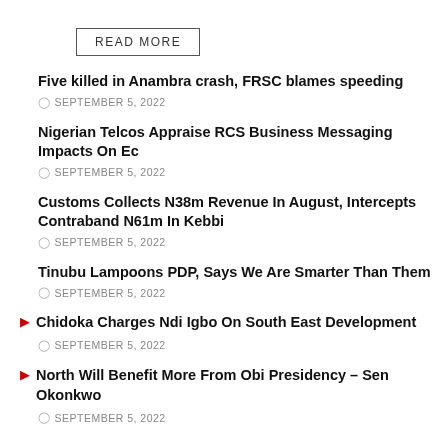READ MORE
Five killed in Anambra crash, FRSC blames speeding
SEPTEMBER 5, 2022
Nigerian Telcos Appraise RCS Business Messaging Impacts On Ec
SEPTEMBER 5, 2022
Customs Collects N38m Revenue In August, Intercepts Contraband N61m In Kebbi
SEPTEMBER 5, 2022
Tinubu Lampoons PDP, Says We Are Smarter Than Them
SEPTEMBER 5, 2022
Chidoka Charges Ndi Igbo On South East Development
SEPTEMBER 5, 2022
North Will Benefit More From Obi Presidency – Sen Okonkwo
SEPTEMBER 5, 2022